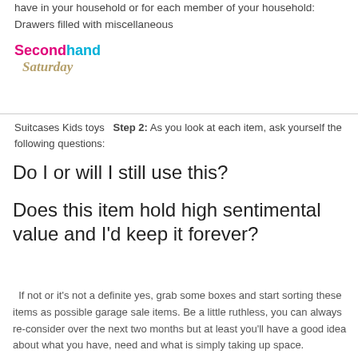have in your household or for each member of your household:   Drawers filled with miscellaneous
[Figure (logo): Secondhand Saturday logo — 'Secondhand' in pink and teal bold text, 'Saturday' in tan italic script below]
Suitcases Kids toys   Step 2: As you look at each item, ask yourself the following questions:
Do I or will I still use this?
Does this item hold high sentimental value and I'd keep it forever?
If not or it's not a definite yes, grab some boxes and start sorting these items as possible garage sale items. Be a little ruthless, you can always re-consider over the next two months but at least you'll have a good idea about what you have, need and what is simply taking up space.